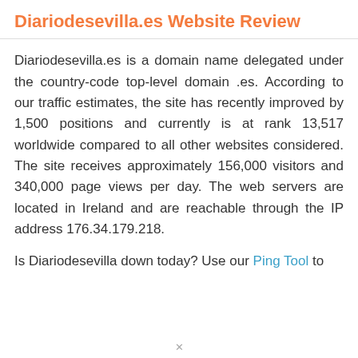Diariodesevilla.es Website Review
Diariodesevilla.es is a domain name delegated under the country-code top-level domain .es. According to our traffic estimates, the site has recently improved by 1,500 positions and currently is at rank 13,517 worldwide compared to all other websites considered. The site receives approximately 156,000 visitors and 340,000 page views per day. The web servers are located in Ireland and are reachable through the IP address 176.34.179.218.
Is Diariodesevilla down today? Use our Ping Tool to